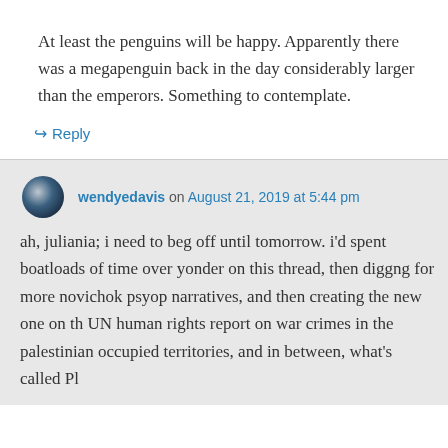At least the penguins will be happy. Apparently there was a megapenguin back in the day considerably larger than the emperors. Something to contemplate.
↪ Reply
wendyedavis on August 21, 2019 at 5:44 pm
ah, juliania; i need to beg off until tomorrow. i'd spent boatloads of time over yonder on this thread, then diggng for more novichok psyop narratives, and then creating the new one on th UN human rights report on war crimes in the palestinian occupied territories, and in between, what's called Pl...